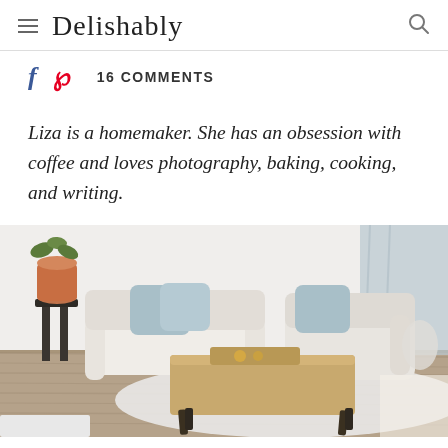Delishably
16 COMMENTS
Liza is a homemaker. She has an obsession with coffee and loves photography, baking, cooking, and writing.
[Figure (photo): A bright living room with white upholstered armchairs, light blue throw pillows, a wooden coffee table with a tray, a terracotta pot on a dark side table, and a white area rug on wood floors]